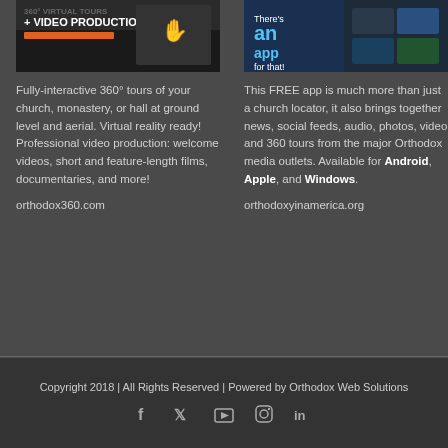[Figure (screenshot): Banner image for 360 Virtual Tours + Video Production with orange bar and hand holding device]
[Figure (screenshot): Banner image: There's an app for that! with app store icons]
Fully-interactive 360° tours of your church, monastery, or hall at ground level and aerial. Virtual reality ready! Professional video production: welcome videos, short and feature-length films, documentaries, and more!
This FREE app is much more than just a church locator, it also brings together news, social feeds, audio, photos, video and 360 tours from the major Orthodox media outlets. Available for Android, Apple, and Windows.
orthodox360.com
orthodoxyinamerica.org
Copyright 2018 | All Rights Reserved | Powered by Orthodox Web Solutions